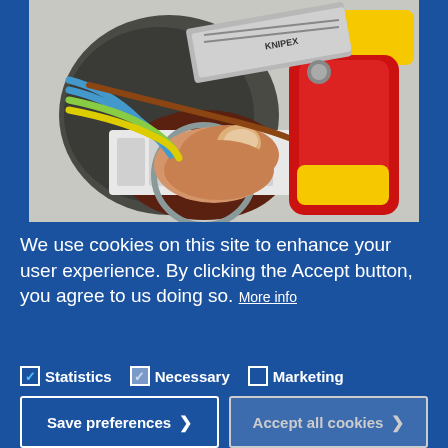[Figure (photo): Close-up photo of an electrician's hand holding red-and-yellow handled KNIPEX pliers working on electrical wiring inside a wall socket junction box. Multiple colored wires (blue, green-yellow, brown) are visible in a white connector block.]
We use cookies on this site to enhance your user experience. By clicking the Accept button, you agree to us doing so. More info
✓ Statistics  ✓ Necessary  □ Marketing
Save preferences >
Accept all cookies >